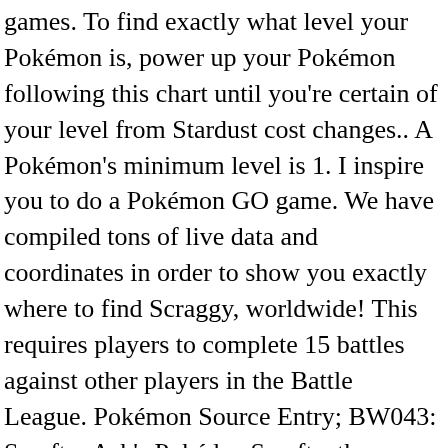games. To find exactly what level your Pokémon is, power up your Pokémon following this chart until you're certain of your level from Stardust cost changes.. A Pokémon's minimum level is 1. I inspire you to do a Pokémon GO game. We have compiled tons of live data and coordinates in order to show you exactly where to find Scraggy, worldwide! This requires players to complete 15 battles against other players in the Battle League. Pokémon Source Entry; BW043: Scrafty: Ash's Pokédex Scrafty, the Hoodlum Pokémon and the evolved form of Scraggy. Add to cart. Scraggy is a bipedal, lizard-like Pokémon. Dark sub-typing helps to mitigate weaknesses to Ghost and Psychic-types that resist Fighting-type Pokemon, which lets Scrafty stand out from other Fighting-types. Right now, the new Unova Pokémon Scraggy is unique to the battle league, and you can catch it from rank 4 onwards. There are currently a total of 2 Pokémon in the Scraggy